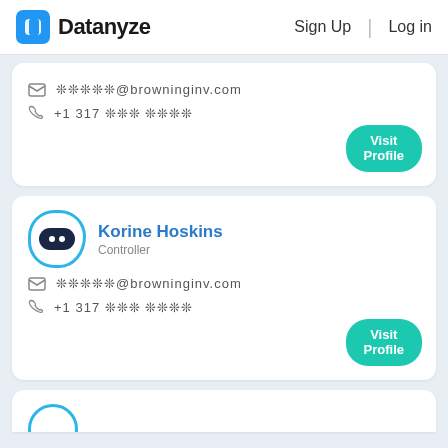Datanyze  Sign Up  Log in
✉ ❊❊❊❊❊@browninginv.com
☎ +1 317 ❊❊❊ ❊❊❊❊
Visit Profile
Korine Hoskins
Controller
✉ ❊❊❊❊❊@browninginv.com
☎ +1 317 ❊❊❊ ❊❊❊❊
Visit Profile